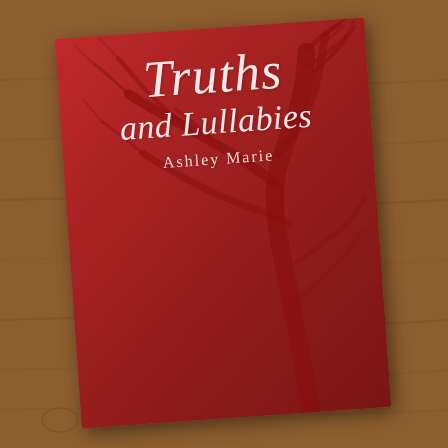[Figure (photo): A photograph of a red book cover titled 'Truths and Lullabies' by Ashley Marie, with a decorative tree silhouette design, placed on a wooden surface.]